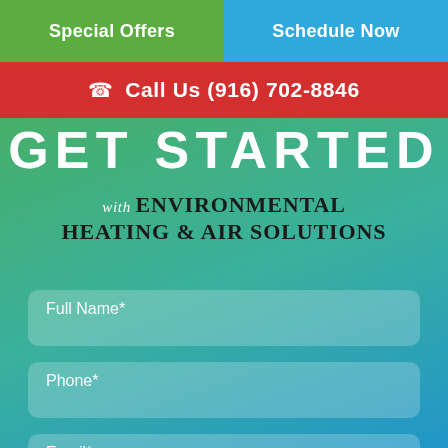Special Offers
Schedule Now
Call Us (916) 702-8846
GET STARTED
with ENVIRONMENTAL HEATING & AIR SOLUTIONS
Full Name*
Phone*
Email*